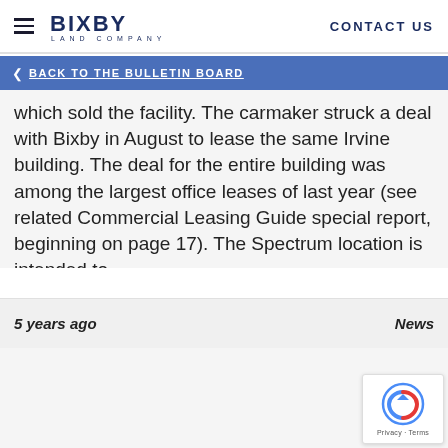BIXBY LAND COMPANY | CONTACT US
< BACK TO THE BULLETIN BOARD
which sold the facility. The carmaker struck a deal with Bixby in August to lease the same Irvine building. The deal for the entire building was among the largest office leases of last year (see related Commercial Leasing Guide special report, beginning on page 17). The Spectrum location is intended to
5 years ago
News